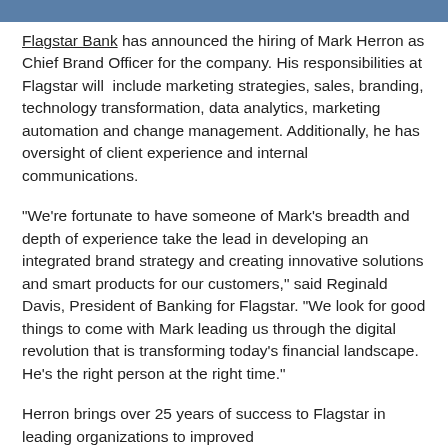[Figure (photo): Partial photo strip at the top of the page showing people, cropped]
Flagstar Bank has announced the hiring of Mark Herron as Chief Brand Officer for the company. His responsibilities at Flagstar will include marketing strategies, sales, branding, technology transformation, data analytics, marketing automation and change management. Additionally, he has oversight of client experience and internal communications.
"We're fortunate to have someone of Mark's breadth and depth of experience take the lead in developing an integrated brand strategy and creating innovative solutions and smart products for our customers," said Reginald Davis, President of Banking for Flagstar. "We look for good things to come with Mark leading us through the digital revolution that is transforming today's financial landscape. He's the right person at the right time."
Herron brings over 25 years of success to Flagstar in leading organizations to improved...